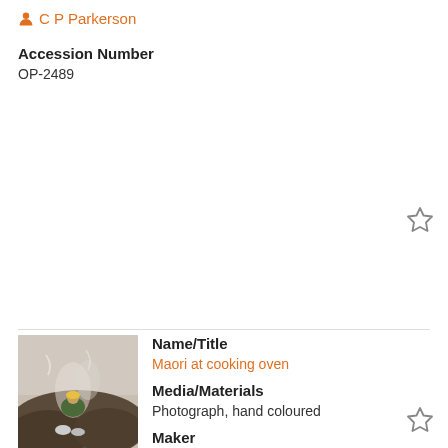C P Parkerson
Accession Number
OP-2489
Name/Title
Maori at cooking oven
Media/Materials
Photograph, hand coloured
Maker
Iles Rotorua
Accession Number
OP-6263